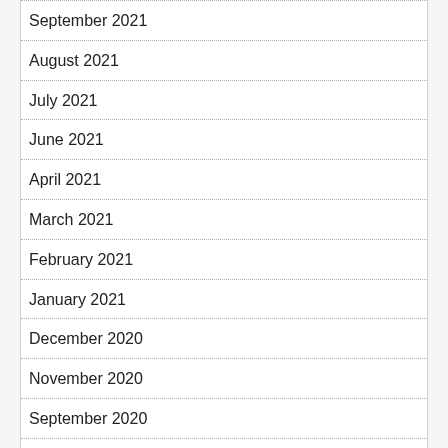September 2021
August 2021
July 2021
June 2021
April 2021
March 2021
February 2021
January 2021
December 2020
November 2020
September 2020
August 2020
July 2020